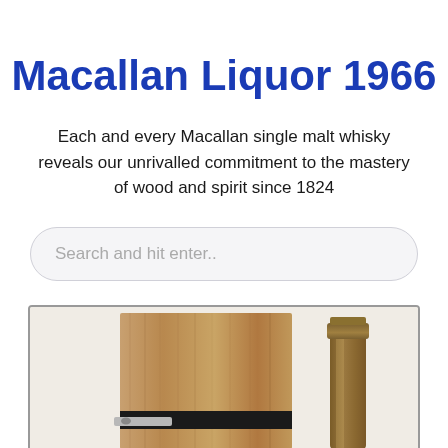Macallan Liquor 1966
Each and every Macallan single malt whisky reveals our unrivalled commitment to the mastery of wood and spirit since 1824
Search and hit enter..
[Figure (photo): Wooden box packaging for Macallan whisky alongside a bottle with a bronze/gold neck and cap, partially visible, showing the distinctive packaging of the 1966 vintage.]